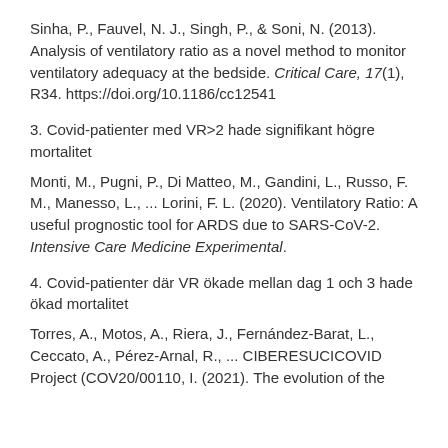Sinha, P., Fauvel, N. J., Singh, P., & Soni, N. (2013). Analysis of ventilatory ratio as a novel method to monitor ventilatory adequacy at the bedside. Critical Care, 17(1), R34. https://doi.org/10.1186/cc12541
3. Covid-patienter med VR>2 hade signifikant högre mortalitet
Monti, M., Pugni, P., Di Matteo, M., Gandini, L., Russo, F. M., Manesso, L., ... Lorini, F. L. (2020). Ventilatory Ratio: A useful prognostic tool for ARDS due to SARS-CoV-2. Intensive Care Medicine Experimental.
4. Covid-patienter där VR ökade mellan dag 1 och 3 hade ökad mortalitet
Torres, A., Motos, A., Riera, J., Fernández-Barat, L., Ceccato, A., Pérez-Arnal, R., ... CIBERESUCICOVID Project (COV20/00110, I. (2021). The evolution of the